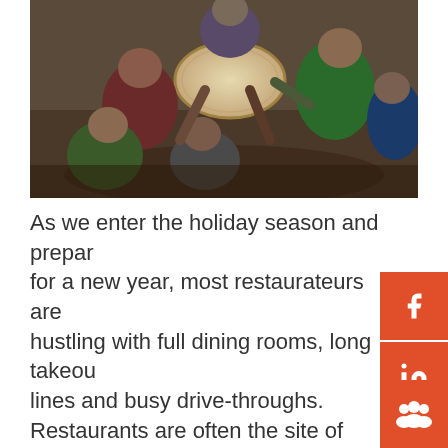[Figure (photo): Group of people sitting around a round drum or table, photographed from above at an angle. Multiple individuals visible wearing casual clothing.]
As we enter the holiday season and prepare for a new year, most restaurateurs are hustling with full dining rooms, long takeout lines and busy drive-throughs. Restaurants are often the site of special dinners, family gatherings and office parties. While this can be stressful for owners, chefs, servers and foodservice teams, it also represents a wonderful opportunity to offer guests a fantastic experience. Guests are thrilled when they are welcomed into a